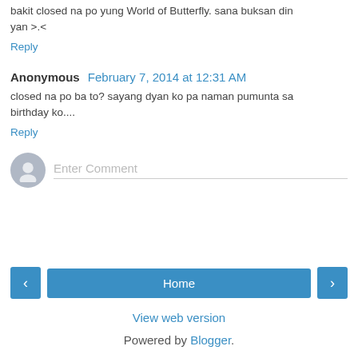bakit closed na po yung World of Butterfly. sana buksan din yan >.<
Reply
Anonymous February 7, 2014 at 12:31 AM
closed na po ba to? sayang dyan ko pa naman pumunta sa birthday ko....
Reply
Enter Comment
Home
View web version
Powered by Blogger.